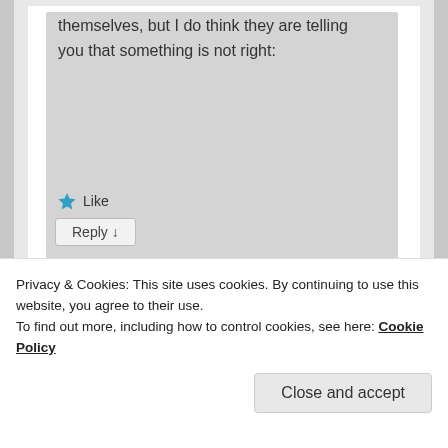themselves, but I do think they are telling you that something is not right:
Like
Reply ↓
Privacy & Cookies: This site uses cookies. By continuing to use this website, you agree to their use.
To find out more, including how to control cookies, see here: Cookie Policy
Close and accept